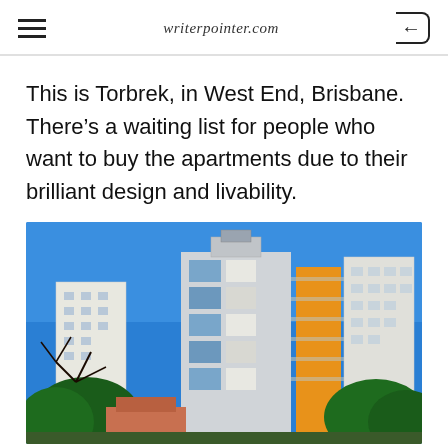writerpointer.com
This is Torbrek, in West End, Brisbane. There’s a waiting list for people who want to buy the apartments due to their brilliant design and livability.
[Figure (photo): Exterior photograph of the Torbrek apartment building in West End, Brisbane, showing a tall modern residential tower with white and blue facade, orange accent panels, and balconies against a clear blue sky, with trees in the foreground.]